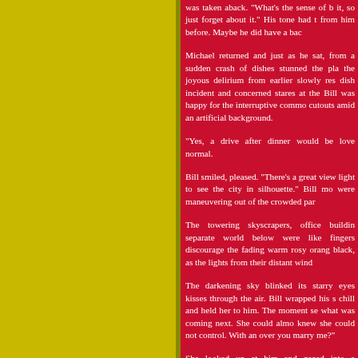[Figure (illustration): Yellow/olive colored rectangular block occupying the left portion of the page, serving as a decorative background element.]
was taken aback. "What's the sense of b it, so just forget about it." His tone had t from him before. Maybe he did have a bac
Michael returned and just as he sat, from a sudden crash of dishes stunned the pla the joyous delirium from earlier slowly res dish incident and concerned stares at the Bill was happy for the interruptive commo cutouts amid an artificial background.
"Yes, a drive after dinner would be love normal.
Bill smiled, pleased. "There's a great view light to see the city in silhouette." Bill mo were maneuvering out of the crowded par
The towering skyscrapers, office buildin separate world below were like fingers discourage the fading warm rosy orang black, as the lights from their distant wind
The darkening sky blinked its starry eyes kisses through the air. Bill wrapped his s chill and held her to him. The moment se what was coming next. She could almo knew she could not control. With an over you marry me?"
She looked up at him and gazed into e curiously easy to her because deep dow